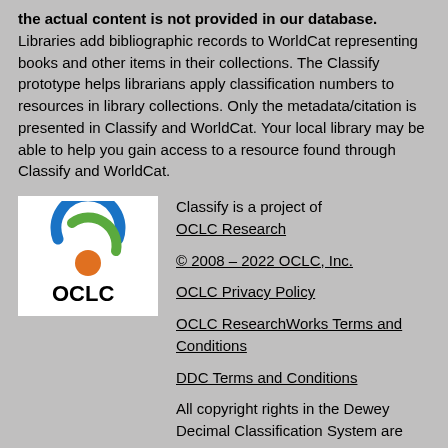the actual content is not provided in our database. Libraries add bibliographic records to WorldCat representing books and other items in their collections. The Classify prototype helps librarians apply classification numbers to resources in library collections. Only the metadata/citation is presented in Classify and WorldCat. Your local library may be able to help you gain access to a resource found through Classify and WorldCat.
[Figure (logo): OCLC logo with colorful circular arcs and OCLC text below]
Classify is a project of OCLC Research
© 2008 – 2022 OCLC, Inc.
OCLC Privacy Policy
OCLC ResearchWorks Terms and Conditions
DDC Terms and Conditions
All copyright rights in the Dewey Decimal Classification System are